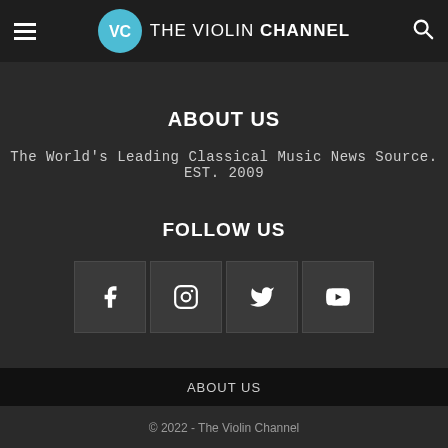VC THE VIOLIN CHANNEL
[Figure (logo): The Violin Channel VC circular logo with teal blue circle and arc underline]
ABOUT US
The World's Leading Classical Music News Source. EST. 2009
FOLLOW US
[Figure (infographic): Four social media icon boxes: Facebook (f), Instagram (camera), Twitter (bird), YouTube (play button)]
ABOUT US
© 2022 - The Violin Channel